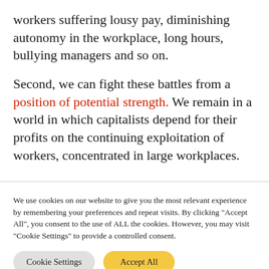workers suffering lousy pay, diminishing autonomy in the workplace, long hours, bullying managers and so on.
Second, we can fight these battles from a position of potential strength. We remain in a world in which capitalists depend for their profits on the continuing exploitation of workers, concentrated in large workplaces.
We use cookies on our website to give you the most relevant experience by remembering your preferences and repeat visits. By clicking "Accept All", you consent to the use of ALL the cookies. However, you may visit "Cookie Settings" to provide a controlled consent.